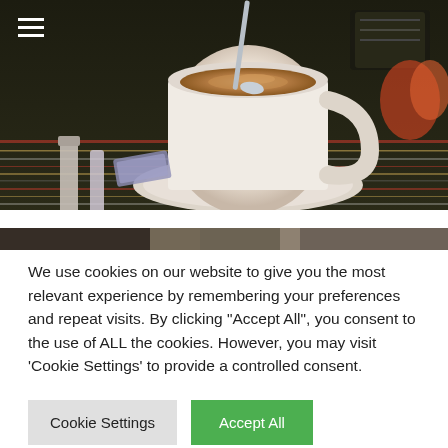[Figure (photo): A close-up photo of a white coffee cup with a spoon stirring, placed on a saucer on a striped dark tablecloth. Other items like markers and a sugar packet visible on the table. A hamburger menu icon (three white horizontal lines) is visible in the top-left corner.]
[Figure (photo): A thin cropped strip of a second photo showing hands and a blurred background.]
We use cookies on our website to give you the most relevant experience by remembering your preferences and repeat visits. By clicking "Accept All", you consent to the use of ALL the cookies. However, you may visit 'Cookie Settings' to provide a controlled consent.
Cookie Settings
Accept All